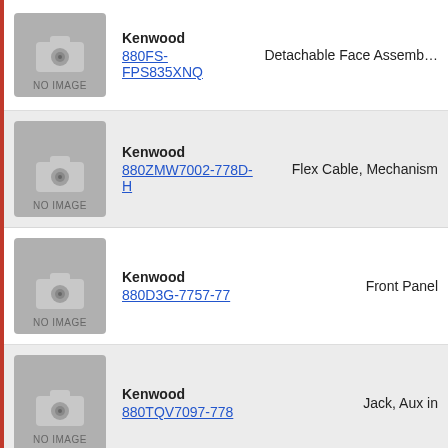Kenwood 880FS-FPS835XNQ — Detachable Face Assembly (partial, top)
Kenwood 880ZMW7002-778D-H — Flex Cable, Mechanism
Kenwood 880D3G-7757-77 — Front Panel
Kenwood 880TQV7097-778 — Jack, Aux in
Kenwood 880H2M-7736-77 — Jack, USB (partial, bottom)